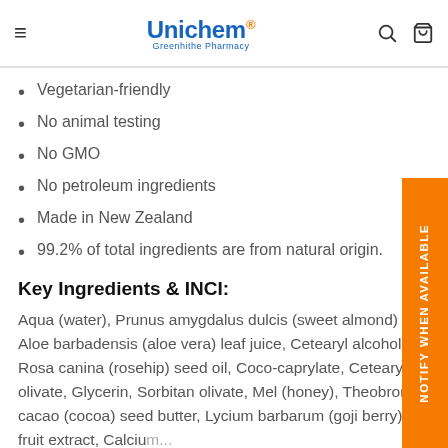Unichem Greenhithe Pharmacy
Vegetarian-friendly
No animal testing
No GMO
No petroleum ingredients
Made in New Zealand
99.2% of total ingredients are from natural origin.
Key Ingredients & INCI:
Aqua (water), Prunus amygdalus dulcis (sweet almond) oil, Aloe barbadensis (aloe vera) leaf juice, Cetearyl alcohol, Rosa canina (rosehip) seed oil, Coco-caprylate, Cetearyl olivate, Glycerin, Sorbitan olivate, Mel (honey), Theobroma cacao (cocoa) seed butter, Lycium barbarum (goji berry) fruit extract, Calcium...